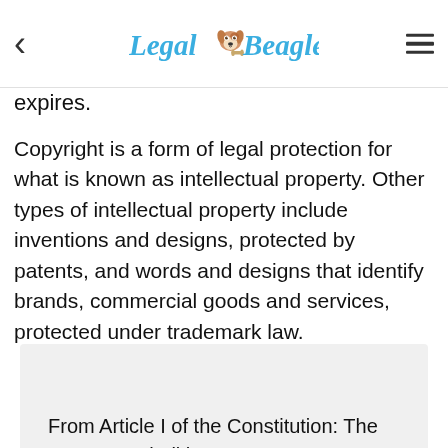Legal Beagle
expires.
Copyright is a form of legal protection for what is known as intellectual property. Other types of intellectual property include inventions and designs, protected by patents, and words and designs that identify brands, commercial goods and services, protected under trademark law.
From Article I of the Constitution: The Congress shall have power...To promote the progress of science and useful arts, by securing for limited times to authors and